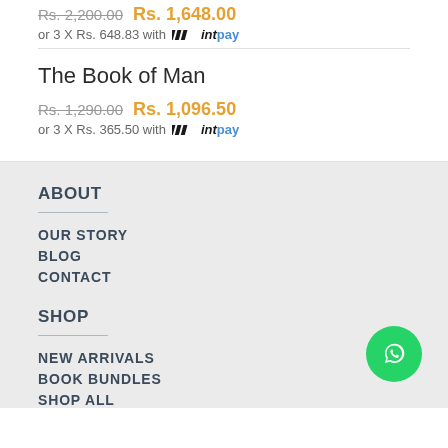Rs. 2,200.00  Rs. 1,648.00
or 3 X Rs. 648.83 with intpay
The Book of Man
Rs. 1,290.00  Rs. 1,096.50
or 3 X Rs. 365.50 with intpay
ABOUT
OUR STORY
BLOG
CONTACT
SHOP
NEW ARRIVALS
BOOK BUNDLES
SHOP ALL